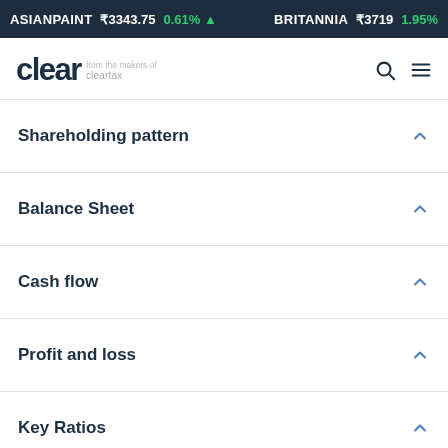ASIANPAINT ₹3343.75 0.61% ▲  BRITANNIA ₹3719 1.95%
[Figure (logo): Clear logo — from the makers of cleartax]
Shareholding pattern
Balance Sheet
Cash flow
Profit and loss
Key Ratios